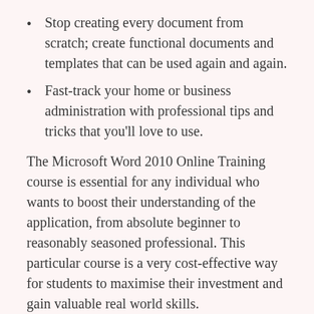Stop creating every document from scratch; create functional documents and templates that can be used again and again.
Fast-track your home or business administration with professional tips and tricks that you'll love to use.
The Microsoft Word 2010 Online Training course is essential for any individual who wants to boost their understanding of the application, from absolute beginner to reasonably seasoned professional. This particular course is a very cost-effective way for students to maximise their investment and gain valuable real world skills.
Introduction
In this course, you will learn how to create and format simple text documents. You will learn how to use correction tools and help. After completing the course, you will know how to set page numbering, how to insert simple headers and footers, and how to print a document.